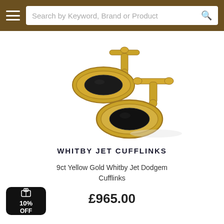Search by Keyword, Brand or Product
[Figure (photo): Two gold cufflinks with black oval jet stones, one in foreground and one behind, on white background]
WHITBY JET CUFFLINKS
9ct Yellow Gold Whitby Jet Dodgem Cufflinks
£965.00
10% OFF